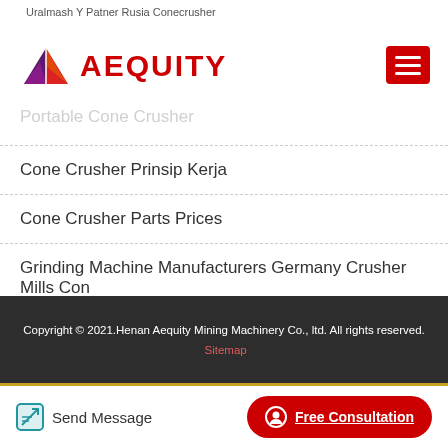Uralmash Y Patner Rusia Conecrusher
[Figure (logo): Aequity logo with colorful diamond/arrow shape and red AEQUITY text]
Portable Cone Crusher
Cone Crusher Prinsip Kerja
Cone Crusher Parts Prices
Grinding Machine Manufacturers Germany Crusher Mills Con
Cs Cone Crusher Tramp Resale
Copyright © 2021.Henan Aequity Mining Machinery Co., ltd. All rights reserved. Sitemap
Send Message
Free Consultation